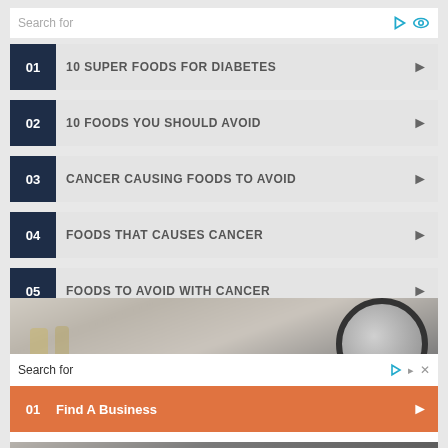Search for
01  10 SUPER FOODS FOR DIABETES
02  10 FOODS YOU SHOULD AVOID
03  CANCER CAUSING FOODS TO AVOID
04  FOODS THAT CAUSES CANCER
05  FOODS TO AVOID WITH CANCER
[Figure (photo): Blurred kitchen background with a circular bowl or plate visible in the upper right area]
Search for
01  Find A Business